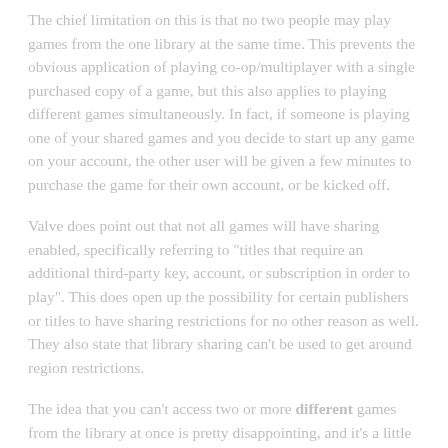The chief limitation on this is that no two people may play games from the one library at the same time. This prevents the obvious application of playing co-op/multiplayer with a single purchased copy of a game, but this also applies to playing different games simultaneously. In fact, if someone is playing one of your shared games and you decide to start up any game on your account, the other user will be given a few minutes to purchase the game for their own account, or be kicked off.
Valve does point out that not all games will have sharing enabled, specifically referring to "titles that require an additional third-party key, account, or subscription in order to play". This does open up the possibility for certain publishers or titles to have sharing restrictions for no other reason as well. They also state that library sharing can't be used to get around region restrictions.
The idea that you can't access two or more different games from the library at once is pretty disappointing, and it's a little unclear as to the reasoning behind that. The system is not